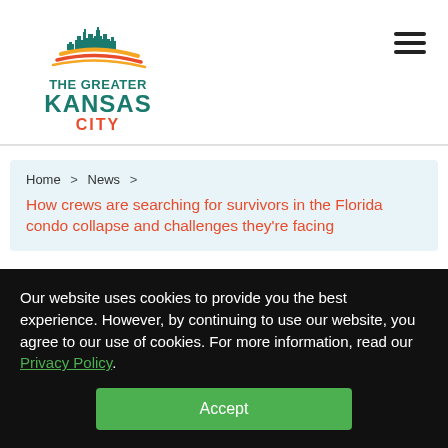[Figure (logo): The Greater Kansas City logo with city skyline graphic above teal and orange swoosh lines, text reading THE GREATER KANSAS CITY]
Home > News > How crews are searching for survivors in the Florida condo collapse and challenges they're facing
How crews are searching for
Our website uses cookies to provide you the best experience. However, by continuing to use our website, you agree to our use of cookies. For more information, read our Privacy Policy.
Accept